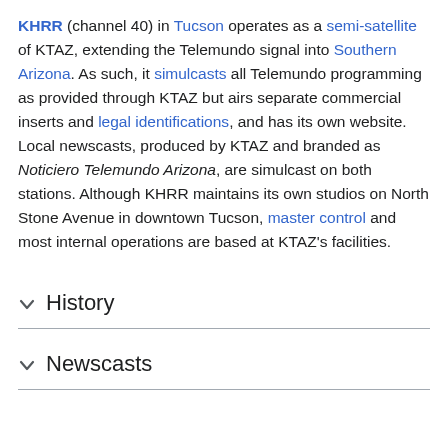KHRR (channel 40) in Tucson operates as a semi-satellite of KTAZ, extending the Telemundo signal into Southern Arizona. As such, it simulcasts all Telemundo programming as provided through KTAZ but airs separate commercial inserts and legal identifications, and has its own website. Local newscasts, produced by KTAZ and branded as Noticiero Telemundo Arizona, are simulcast on both stations. Although KHRR maintains its own studios on North Stone Avenue in downtown Tucson, master control and most internal operations are based at KTAZ's facilities.
History
Newscasts